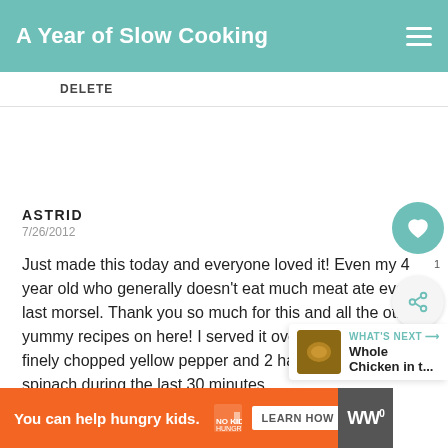A Year of Slow Cooking
DELETE
ASTRID
7/26/2012
Just made this today and everyone loved it! Even my 4 year old who generally doesn't eat much meat ate every last morsel. Thank you so much for this and all the other yummy recipes on here! I served it over rice and added a finely chopped yellow pepper and 2 handfuls of baby spinach during the last 30 minutes.
DELETE
[Figure (screenshot): Ad banner: You can help hungry kids. No Kid Hungry. LEARN HOW. Orange background.]